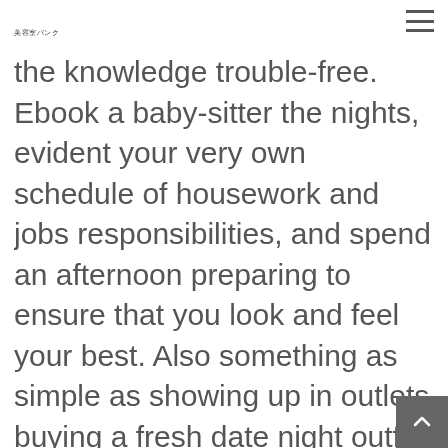美容室バンク
the knowledge trouble-free. Ebook a baby-sitter the nights, evident your very own schedule of housework and jobs responsibilities, and spend an afternoon preparing to ensure that you look and feel your best. Also something as simple as showing up in outlets buying a fresh date night outfit or crisp white clothing could actually help raise your confidence. When the date goes well – close! But remember there's no force to get started on the second one unless they can feel fully right.